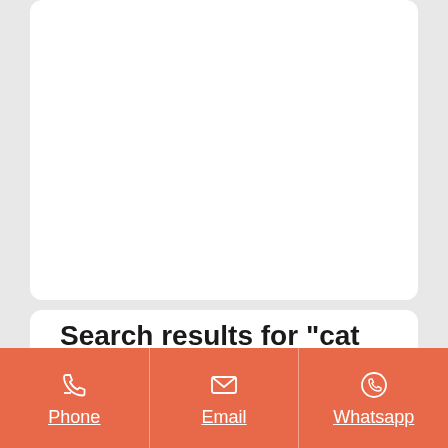[Figure (screenshot): Upper white card area, empty/blank content region]
Search results for "cat
faded navigation or breadcrumb text partially visible
[Figure (infographic): Orange contact bar with Phone, Email, and Whatsapp icons and labels]